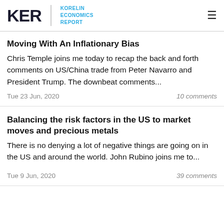KER KORELIN ECONOMICS REPORT
Moving With An Inflationary Bias
Chris Temple joins me today to recap the back and forth comments on US/China trade from Peter Navarro and President Trump. The downbeat comments...
Tue 23 Jun, 2020    10 comments
Balancing the risk factors in the US to market moves and precious metals
There is no denying a lot of negative things are going on in the US and around the world. John Rubino joins me to...
Tue 9 Jun, 2020    39 comments